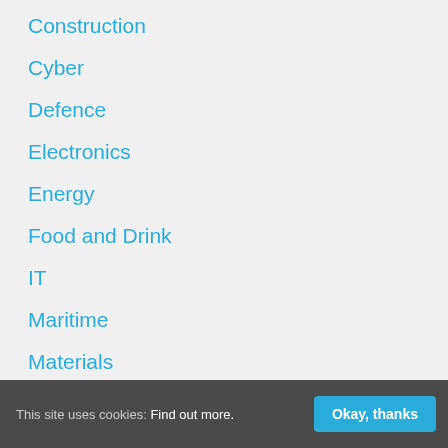Construction
Cyber
Defence
Electronics
Energy
Food and Drink
IT
Maritime
Materials
Packaging
Pharma
Renewable Energy
[Figure (illustration): Purple circular chat bubble icon button in the middle-right area of the page]
This site uses cookies: Find out more.  Okay, thanks